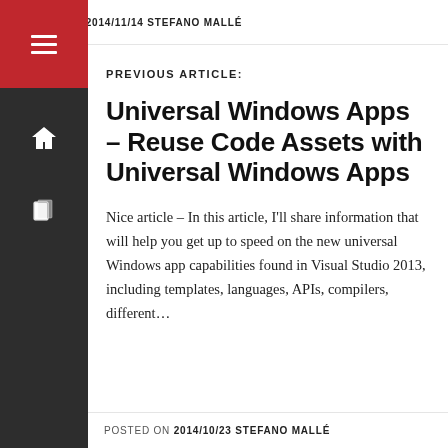POSTED ON 2014/11/14 STEFANO MALLÉ
PREVIOUS ARTICLE:
Universal Windows Apps – Reuse Code Assets with Universal Windows Apps
Nice article – In this article, I'll share information that will help you get up to speed on the new universal Windows app capabilities found in Visual Studio 2013, including templates, languages, APIs, compilers, different…
POSTED ON 2014/10/23 STEFANO MALLÉ